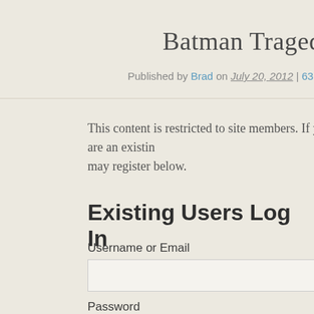Batman Tragedy
Published by Brad on July 20, 2012 | 63 Responses
This content is restricted to site members. If you are an existing user, please log in. New users may register below.
Existing Users Log In
Username or Email
Password